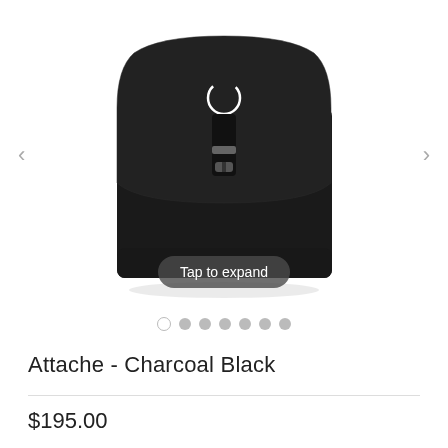[Figure (photo): A black leather attache bag/backpack with a flap closure, C-shaped metallic logo on the flap, and a belt buckle clasp. Photographed on white background from a slightly top-angled front view.]
Tap to expand
Attache - Charcoal Black
$195.00